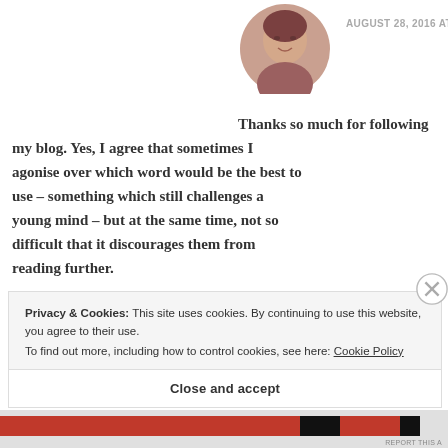[Figure (photo): Circular avatar photo of a woman]
AUGUST 28, 2016 AT 16:42
Thanks so much for following my blog. Yes, I agree that sometimes I agonise over which word would be the best to use – something which still challenges a young mind – but at the same time, not so difficult that it discourages them from reading further.
Privacy & Cookies: This site uses cookies. By continuing to use this website, you agree to their use.
To find out more, including how to control cookies, see here: Cookie Policy
Close and accept